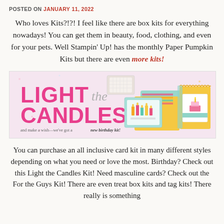POSTED ON JANUARY 11, 2022
Who loves Kits?!?! I feel like there are box kits for everything nowadays! You can get them in beauty, food, clothing, and even for your pets. Well Stampin' Up! has the monthly Paper Pumpkin Kits but there are even more kits!
[Figure (photo): Light the Candles birthday kit advertisement banner showing colorful birthday cards with candles design, yellow envelope, and mint/teal card holder on a light pink background. Text reads 'LIGHT the CANDLES and make a wish—we've got a new birthday kit!']
You can purchase an all inclusive card kit in many different styles depending on what you need or love the most. Birthday? Check out this Light the Candles Kit! Need masculine cards? Check out the For the Guys Kit! There are even treat box kits and tag kits! There really is something